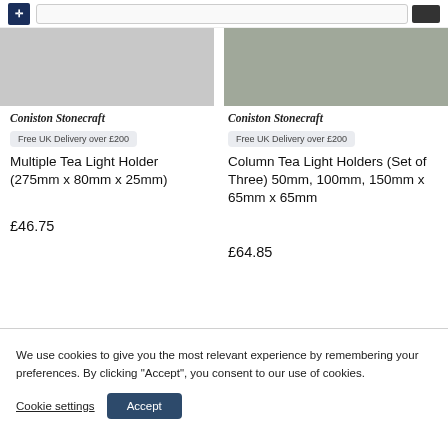Coniston Stonecraft — Search for products
[Figure (photo): Product image left: light grey stone tea light holder on white background]
[Figure (photo): Product image right: dark green stone column tea light holders on grey background]
Coniston Stonecraft
Free UK Delivery over £200
Multiple Tea Light Holder (275mm x 80mm x 25mm)
£46.75
Coniston Stonecraft
Free UK Delivery over £200
Column Tea Light Holders (Set of Three) 50mm, 100mm, 150mm x 65mm x 65mm
£64.85
We use cookies to give you the most relevant experience by remembering your preferences. By clicking "Accept", you consent to our use of cookies.
Cookie settings
Accept